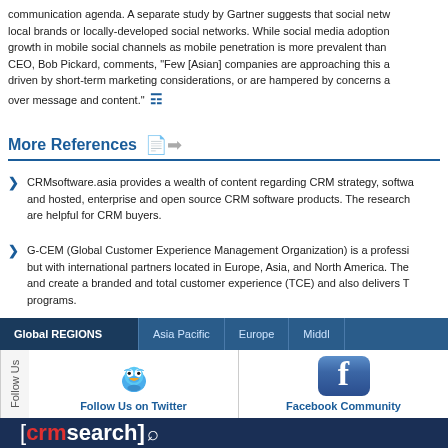communication agenda. A separate study by Gartner suggests that social networks local brands or locally-developed social networks. While social media adoption growth in mobile social channels as mobile penetration is more prevalent than CEO, Bob Pickard, comments, "Few [Asian] companies are approaching this ar driven by short-term marketing considerations, or are hampered by concerns ab over message and content."
More References
CRMsoftware.asia provides a wealth of content regarding CRM strategy, software and hosted, enterprise and open source CRM software products. The research are helpful for CRM buyers.
G-CEM (Global Customer Experience Management Organization) is a professo but with international partners located in Europe, Asia, and North America. The and create a branded and total customer experience (TCE) and also delivers T programs.
[Figure (screenshot): Navigation bar with Global REGIONS, Asia Pacific, Europe, Middle links]
[Figure (infographic): Follow Us section with Twitter bird icon and Facebook icon]
[Figure (logo): crmsearch logo on dark blue footer background]